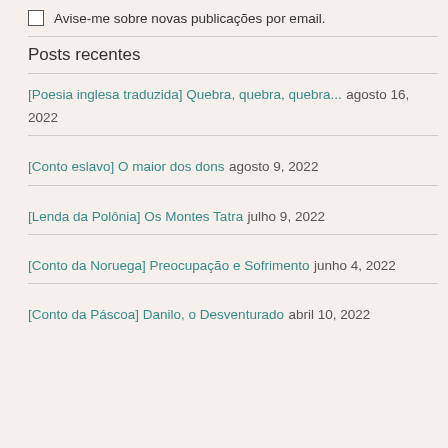Avise-me sobre novas publicações por email.
Posts recentes
[Poesia inglesa traduzida] Quebra, quebra, quebra... agosto 16, 2022
[Conto eslavo] O maior dos dons agosto 9, 2022
[Lenda da Polônia] Os Montes Tatra julho 9, 2022
[Conto da Noruega] Preocupação e Sofrimento junho 4, 2022
[Conto da Páscoa] Danilo, o Desventurado abril 10, 2022